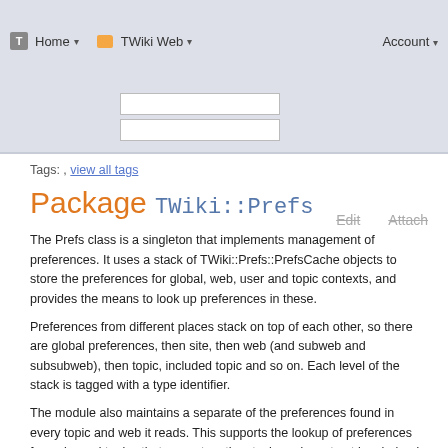Home | TWiki Web | Account
Tags: , view all tags
Package TWiki::Prefs
The Prefs class is a singleton that implements management of preferences. It uses a stack of TWiki::Prefs::PrefsCache objects to store the preferences for global, web, user and topic contexts, and provides the means to look up preferences in these.
Preferences from different places stack on top of each other, so there are global preferences, then site, then web (and subweb and subsubweb), then topic, included topic and so on. Each level of the stack is tagged with a type identifier.
The module also maintains a separate of the preferences found in every topic and web it reads. This supports the lookup of preferences for webs and topics that are not on the stack, and must not be chained in (you can't allow a user to override protections from their home topic!)